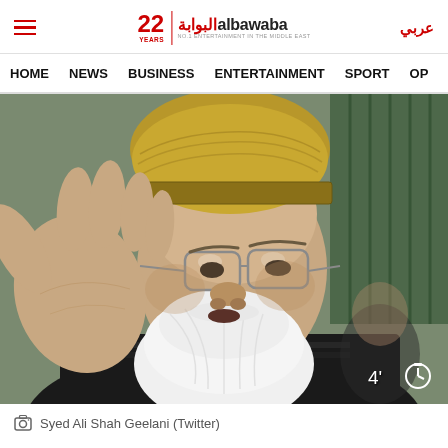albawaba | HOME | NEWS | BUSINESS | ENTERTAINMENT | SPORT | OP | عربي
[Figure (photo): Close-up photo of Syed Ali Shah Geelani, an elderly man with a white beard wearing glasses and a traditional Kashmiri karakul cap, raising his hand]
Syed Ali Shah Geelani (Twitter)